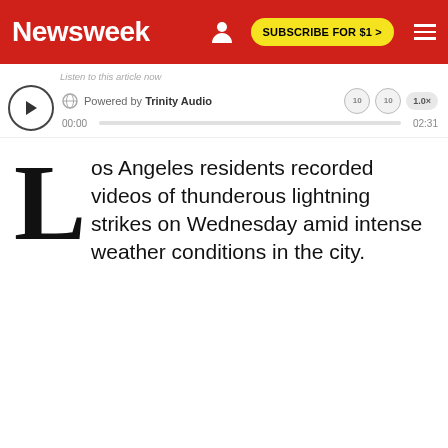Newsweek | SUBSCRIBE FOR $1 >
[Figure (screenshot): Audio player widget: play button, globe icon, 'Powered by Trinity Audio', skip controls, 1.0x speed, time 00:00 / 02:31, progress bar]
Los Angeles residents recorded videos of thunderous lightning strikes on Wednesday amid intense weather conditions in the city.